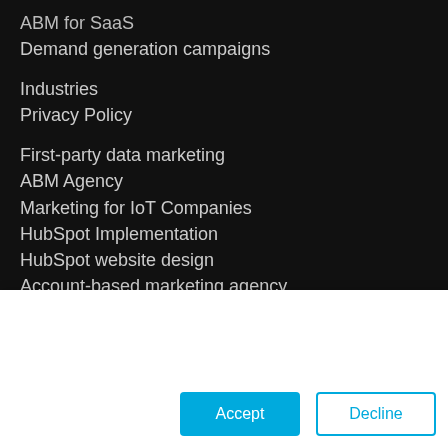ABM for SaaS
Demand generation campaigns
Industries
Privacy Policy
First-party data marketing
ABM Agency
Marketing for IoT Companies
HubSpot Implementation
HubSpot website design
Account-based marketing agency
Pardot Agency
This website uses cookies to ensure you get the best experience. Learn More
If you decline, your information won’t be tracked when you visit this website. A single cookie will be used in your browser to remember your preference not to be tracked.
Accept
Decline